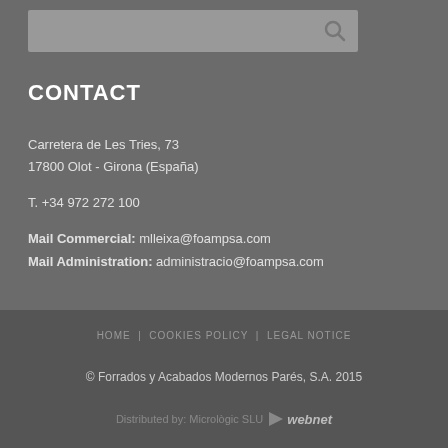[Figure (screenshot): Search bar with magnifying glass icon on grey background]
CONTACT
Carretera de Les Tries, 73
17800 Olot - Girona (España)
T. +34 972 272 100
Mail Commercial: mlleixa@foampsa.com
Mail Administration: administracio@foampsa.com
HOME | COOKIES POLICY | LEGAL NOTICE
© Forrados y Acabados Modernos Parés, S.A. 2015
Distributed by: Micrològic SLU webnet